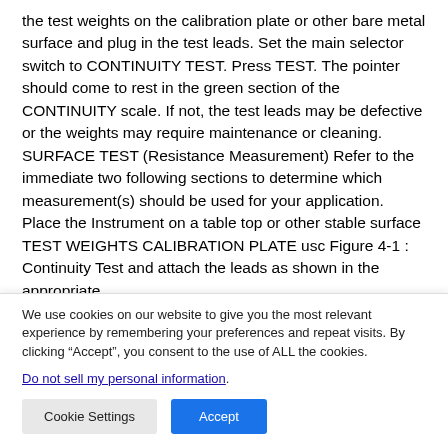the test weights on the calibration plate or other bare metal surface and plug in the test leads. Set the main selector switch to CONTINUITY TEST. Press TEST. The pointer should come to rest in the green section of the CONTINUITY scale. If not, the test leads may be defective or the weights may require maintenance or cleaning. SURFACE TEST (Resistance Measurement) Refer to the immediate two following sections to determine which measurement(s) should be used for your application. Place the Instrument on a table top or other stable surface TEST WEIGHTS CALIBRATION PLATE usc Figure 4-1 : Continuity Test and attach the leads as shown in the appropriate
We use cookies on our website to give you the most relevant experience by remembering your preferences and repeat visits. By clicking "Accept", you consent to the use of ALL the cookies.
Do not sell my personal information.
Cookie Settings  Accept